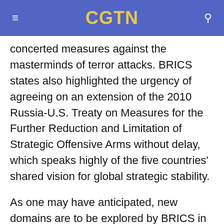CGTN
concerted measures against the masterminds of terror attacks. BRICS states also highlighted the urgency of agreeing on an extension of the 2010 Russia-U.S. Treaty on Measures for the Further Reduction and Limitation of Strategic Offensive Arms without delay, which speaks highly of the five countries' shared vision for global strategic stability.
As one may have anticipated, new domains are to be explored by BRICS in the future – digital medicine, cooperation in space, COVID-19 vaccine research and production and green finance among them. The